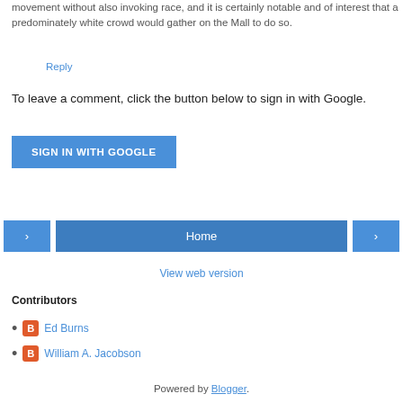movement without also invoking race, and it is certainly notable and of interest that a predominately white crowd would gather on the Mall to do so.
Reply
To leave a comment, click the button below to sign in with Google.
SIGN IN WITH GOOGLE
< Home >
View web version
Contributors
Ed Burns
William A. Jacobson
Powered by Blogger.